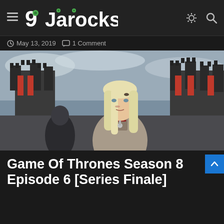9Jarocks
May 13, 2019   1 Comment
[Figure (photo): Woman with blonde hair in a grey/beige outfit standing in front of a castle-like structure with red banners; another figure in dark armor visible in background. Scene from Game of Thrones.]
Game Of Thrones Season 8 Episode 6 [Series Finale]